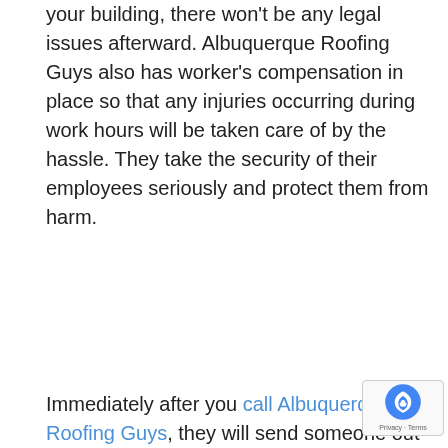your building, there won't be any legal issues afterward. Albuquerque Roofing Guys also has worker's compensation in place so that any injuries occurring during work hours will be taken care of by the hassle. They take the security of their employees seriously and protect them from harm.
Immediately after you call Albuquerque Roofing Guys, they will send someone out to your home to assess the damage done by the storm. They have a crew of professionals at their disposal that can repair almost any issue in a very timely manner. The worker will be able to tell right away what kind of repairs need to be made and how long it will take to complete each job. You won't have to worry about whether or not they are telling you the truth because they will give you an estimate for free if there is something wrong with your roof from one of our